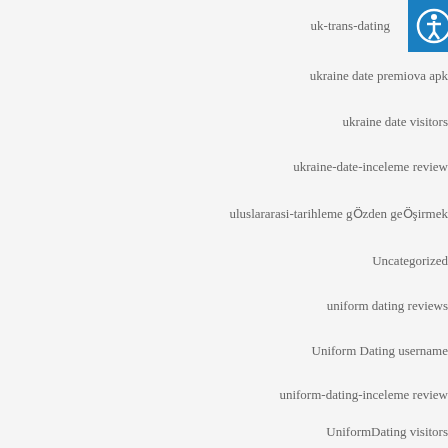uk-trans-dating
ukraine date premiova apk
ukraine date visitors
ukraine-date-inceleme review
uluslararasi-tarihleme gözden geçirmek
Uncategorized
uniform dating reviews
Uniform Dating username
uniform-dating-inceleme review
UniformDating visitors